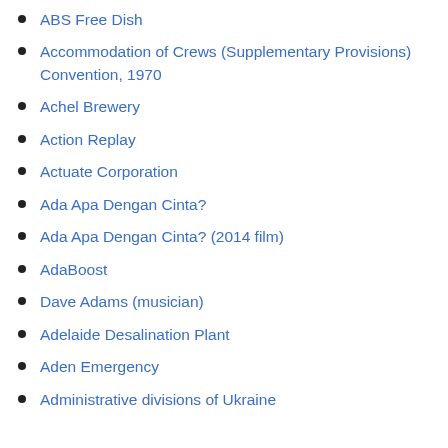ABS Free Dish
Accommodation of Crews (Supplementary Provisions) Convention, 1970
Achel Brewery
Action Replay
Actuate Corporation
Ada Apa Dengan Cinta?
Ada Apa Dengan Cinta? (2014 film)
AdaBoost
Dave Adams (musician)
Adelaide Desalination Plant
Aden Emergency
Administrative divisions of Ukraine